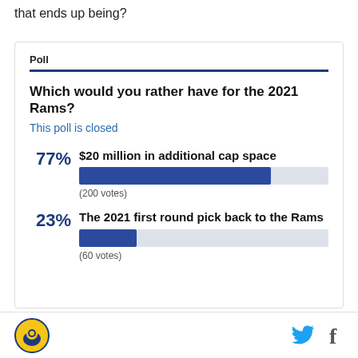that ends up being?
Poll
Which would you rather have for the 2021 Rams?
This poll is closed
[Figure (bar-chart): Poll results]
SB Nation Rams logo, Twitter icon, Facebook icon